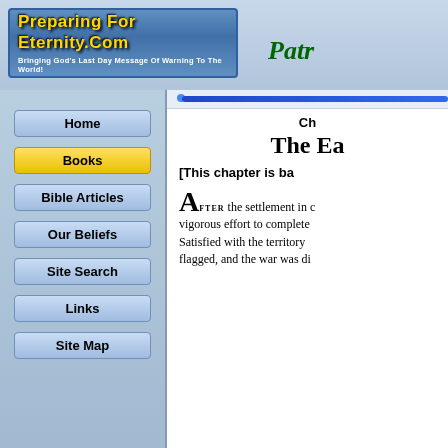[Figure (logo): PreparingForEternity.Com banner logo with blue sky background and text 'Bringing God's Last Day Message Of Warning To The World!']
Patr
Home
Books
Bible Articles
Our Beliefs
Site Search
Links
Site Map
Ch
The Ea
[This chapter is ba
AFTER the settlement in ... vigorous effort to complete... Satisfied with the territory ... flagged, and the war was di... ... at the C...